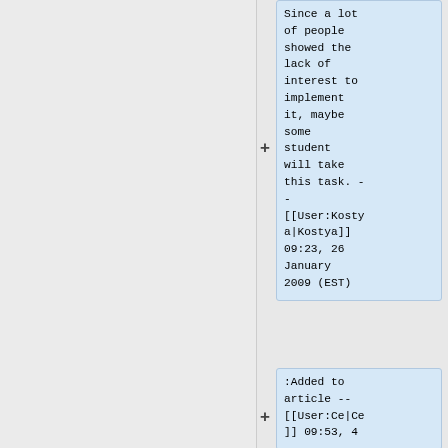Since a lot of people showed the lack of interest to implement it, maybe some student will take this task. - - [[User:Kostya|Kostya]] 09:23, 26 January 2009 (EST)
:Added to article -- [[User:Ce|Ce]] 09:53, 4